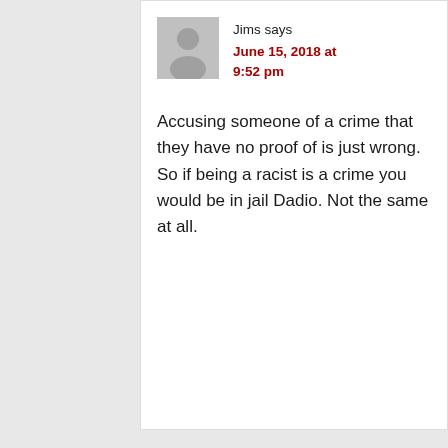Jims says
June 15, 2018 at 9:52 pm
Accusing someone of a crime that they have no proof of is just wrong. So if being a racist is a crime you would be in jail Dadio. Not the same at all.